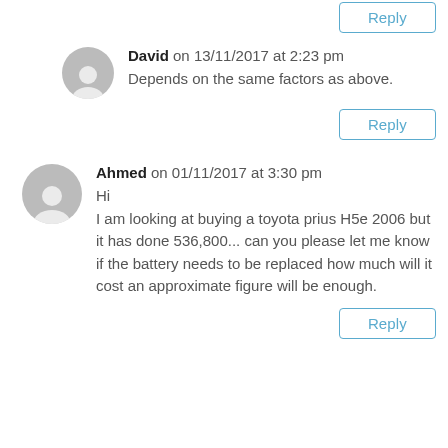David on 13/11/2017 at 2:23 pm
Depends on the same factors as above.
Reply
Ahmed on 01/11/2017 at 3:30 pm
Hi
I am looking at buying a toyota prius H5e 2006 but it has done 536,800... can you please let me know if the battery needs to be replaced how much will it cost an approximate figure will be enough.
Reply